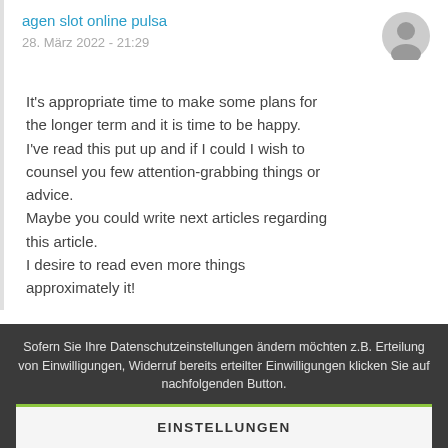agen slot online pulsa
28. März 2022 - 21:29
It's appropriate time to make some plans for the longer term and it is time to be happy. I've read this put up and if I could I wish to counsel you few attention-grabbing things or advice.
Maybe you could write next articles regarding this article.
I desire to read even more things approximately it!
Sofern Sie Ihre Datenschutzeinstellungen ändern möchten z.B. Erteilung von Einwilligungen, Widerruf bereits erteilter Einwilligungen klicken Sie auf nachfolgenden Button.
EINSTELLUNGEN